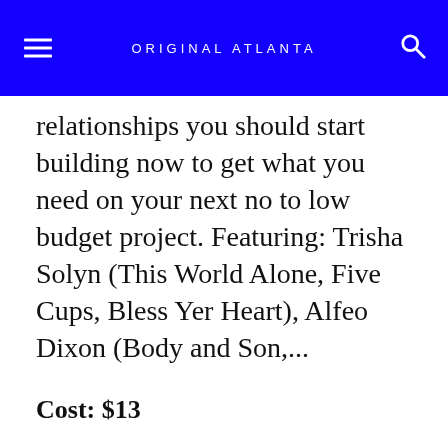ORIGINAL ATLANTA
relationships you should start building now to get what you need on your next no to low budget project. Featuring: Trisha Solyn (This World Alone, Five Cups, Bless Yer Heart), Alfeo Dixon (Body and Son,...
Cost: $13
[click here for more]